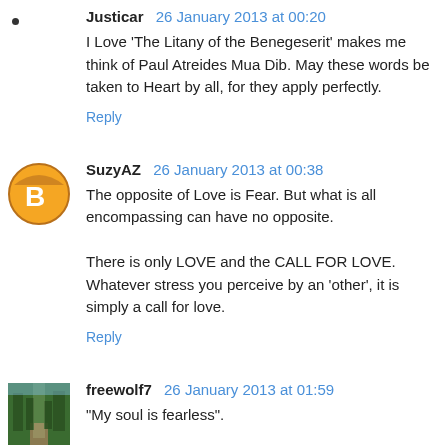Justicar  26 January 2013 at 00:20
I Love 'The Litany of the Benegeserit' makes me think of Paul Atreides Mua Dib. May these words be taken to Heart by all, for they apply perfectly.
Reply
SuzyAZ  26 January 2013 at 00:38
The opposite of Love is Fear. But what is all encompassing can have no opposite.

There is only LOVE and the CALL FOR LOVE. Whatever stress you perceive by an 'other', it is simply a call for love.
Reply
freewolf7  26 January 2013 at 01:59
"My soul is fearless".